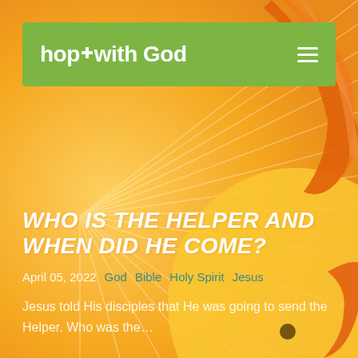hope with God
WHO IS THE HELPER AND WHEN DID HE COME?
April 05, 2022  God  Bible  Holy Spirit  Jesus
Jesus told His disciples that He was going to send the Helper. Who was the...